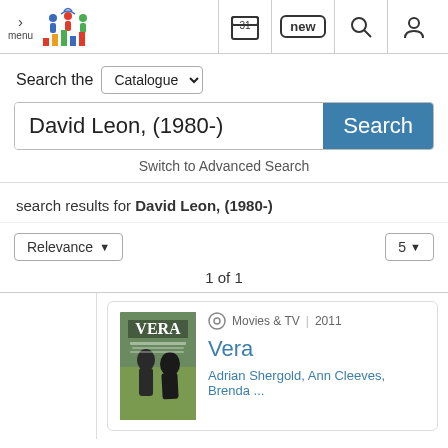[Figure (screenshot): Library catalogue website header with menu button, colorful people logo, calendar icon, 'new' button, search icon, and user icon]
Search the Catalogue
David Leon, (1980-)
Search
Switch to Advanced Search
search results for David Leon, (1980-)
Relevance
5
1 of 1
Movies & TV | 2011
Vera
Adrian Shergold, Ann Cleeves, Brenda ...